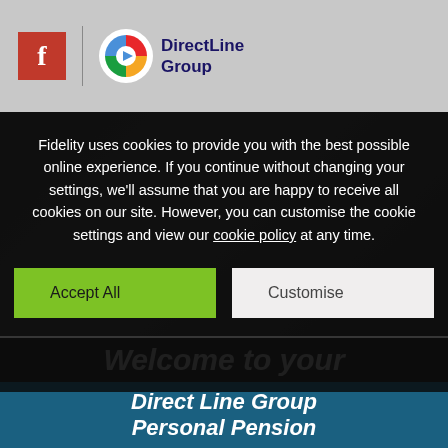[Figure (logo): Fidelity red square logo with 'f' letter and Direct Line Group logo with colorful arrow icon and navy text]
Fidelity uses cookies to provide you with the best possible online experience. If you continue without changing your settings, we'll assume that you are happy to receive all cookies on our site. However, you can customise the cookie settings and view our cookie policy at any time.
Accept All
Customise
Welcome to your
Direct Line Group Personal Pension